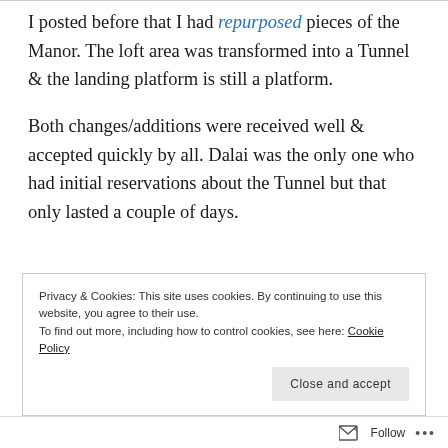I posted before that I had repurposed pieces of the Manor.  The loft area was transformed into a Tunnel & the landing platform is still a platform.
Both changes/additions were received well & accepted quickly by all.  Dalai was the only one who had initial reservations about the Tunnel but that only lasted a couple of days.
Privacy & Cookies: This site uses cookies. By continuing to use this website, you agree to their use.
To find out more, including how to control cookies, see here: Cookie Policy
Follow ...